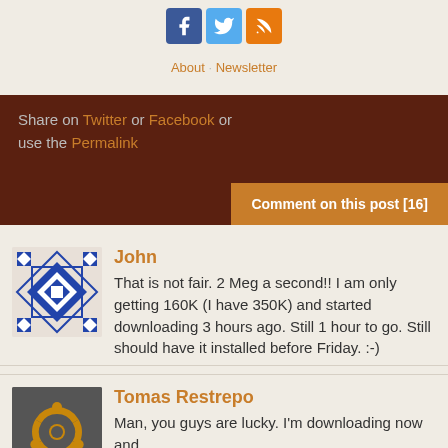[Figure (other): Social media icons: Facebook (blue), Twitter (blue), RSS (orange)]
About  ·  Newsletter
Share on Twitter or Facebook or use the Permalink
Comment on this post [16]
John
That is not fair. 2 Meg a second!! I am only getting 160K (I have 350K) and started downloading 3 hours ago. Still 1 hour to go. Still should have it installed before Friday. :-)
Tomas Restrepo
Man, you guys are lucky. I'm downloading now and